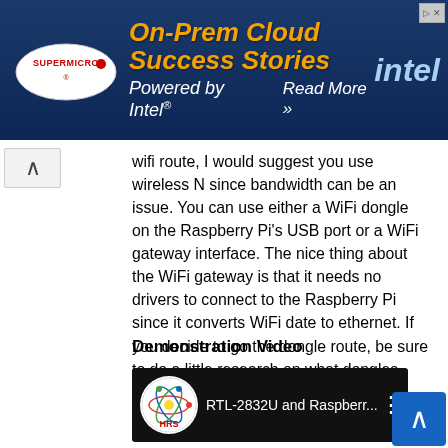[Figure (screenshot): Advertisement banner: Supermicro and Intel 'On-Prem Cloud Success Stories, Powered by Intel. Read More >>']
wifi route, I would suggest you use wireless N since bandwidth can be an issue. You can use either a WiFi dongle on the Raspberry Pi's USB port or a WiFi gateway interface. The nice thing about the WiFi gateway is that it needs no drivers to connect to the Raspberry Pi since it converts WiFi date to ethernet. If you decide to go the dongle route, be sure to do a little research on what dongles work well on the Pi.
Demonstration Video
[Figure (screenshot): Video thumbnail showing HRS logo and title 'RTL-2832U and Raspberr...' with three-dot menu]